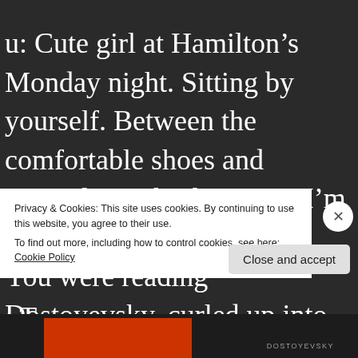u: Cute girl at Hamilton’s Monday night. Sitting by yourself. Between the comfortable shoes and general air of exhaustion, I’m guessing service industry. You were reading Dostoyevsky, curled up into one of the big armchairs. I haven’t read anything like that since high school, so I was impressed.
: T
Privacy & Cookies: This site uses cookies. By continuing to use this website, you agree to their use.
To find out more, including how to control cookies, see here: Cookie Policy
Close and accept